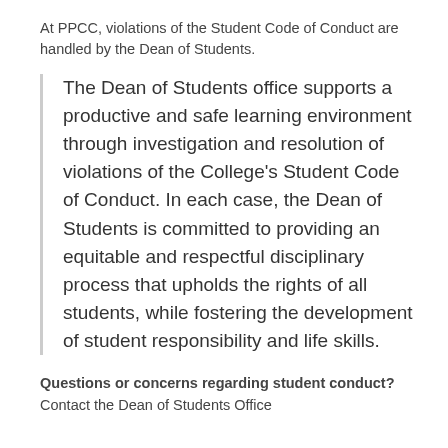At PPCC, violations of the Student Code of Conduct are handled by the Dean of Students.
The Dean of Students office supports a productive and safe learning environment through investigation and resolution of violations of the College's Student Code of Conduct. In each case, the Dean of Students is committed to providing an equitable and respectful disciplinary process that upholds the rights of all students, while fostering the development of student responsibility and life skills.
Questions or concerns regarding student conduct? Contact the Dean of Students Office